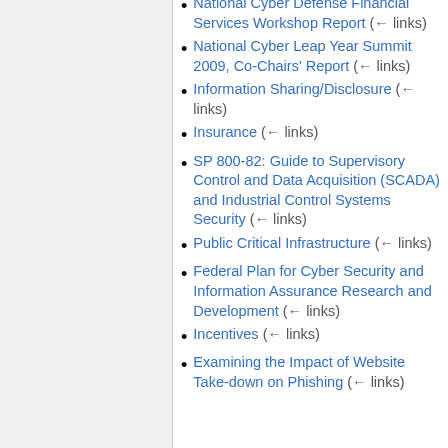National Cyber Defense Financial Services Workshop Report  (← links)
National Cyber Leap Year Summit 2009, Co-Chairs' Report  (← links)
Information Sharing/Disclosure  (← links)
Insurance  (← links)
SP 800-82: Guide to Supervisory Control and Data Acquisition (SCADA) and Industrial Control Systems Security  (← links)
Public Critical Infrastructure  (← links)
Federal Plan for Cyber Security and Information Assurance Research and Development  (← links)
Incentives  (← links)
Examining the Impact of Website Take-down on Phishing  (← links)